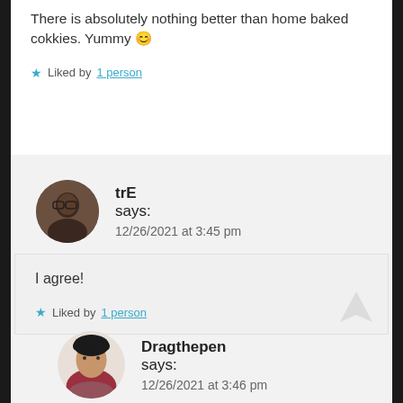There is absolutely nothing better than home baked cokkies. Yummy 😊
★ Liked by 1 person
trE says: 12/26/2021 at 3:45 pm
I agree!
★ Liked by 1 person
Dragthepen says: 12/26/2021 at 3:46 pm